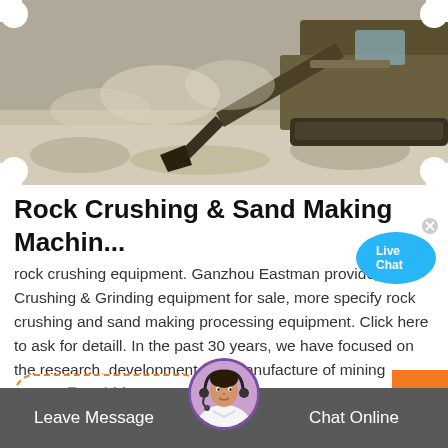[Figure (photo): Heavy excavator/mining machine crushing rocks, dust visible, industrial outdoor scene]
Rock Crushing & Sand Making Machin...
rock crushing equipment. Ganzhou Eastman provide Crushing & Grinding equipment for sale, more specify rock crushing and sand making processing equipment. Click here to ask for detaill. In the past 30 years, we have focused on the research, development and manufacture of mining crushing equipment, sand making equipment, industrial milling ...
Read More
Leave Message
Chat Online